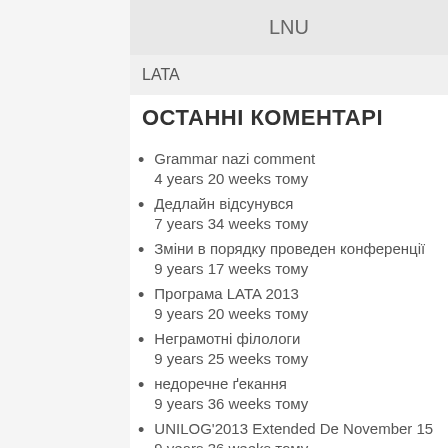LNU
LATA
ОСТАННІ КОМЕНТАРІ
Grammar nazi comment
4 years 20 weeks тому
Дедлайн відсунувся
7 years 34 weeks тому
Зміни в порядку проведен конференції
9 years 17 weeks тому
Програма LATA 2013
9 years 20 weeks тому
Неграмотні філологи
9 years 25 weeks тому
недоречне ґекання
9 years 36 weeks тому
UNILOG'2013 Extended De November 15
9 years 36 weeks тому
Дедлайн LATA 2013
9 years 36 weeks тому
Програма TPNC 2012
9 years 44 weeks тому